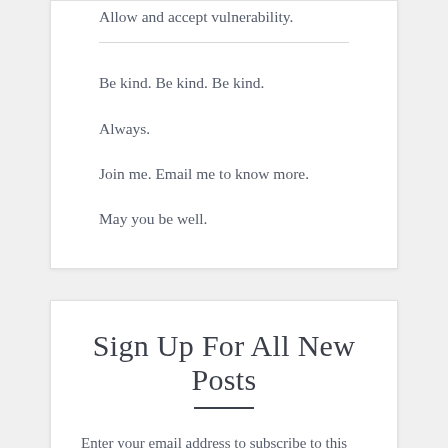Allow and accept vulnerability.
Be kind. Be kind. Be kind.

Always.

Join me. Email me to know more.

May you be well.
Sign Up For All New Posts
Enter your email address to subscribe to this blog and receive notifications of new posts by email.